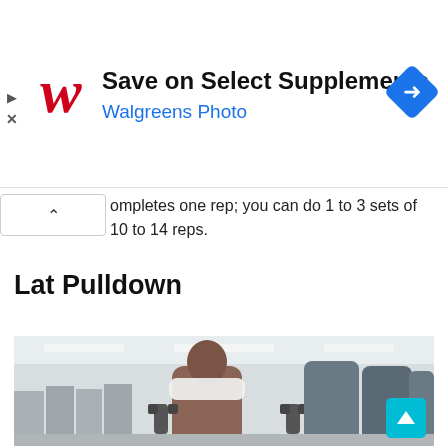[Figure (advertisement): Walgreens ad banner: red cursive W logo, headline 'Save on Select Supplements', subtitle 'Walgreens Photo', blue navigation arrow diamond icon on right; play and close icons on far left]
completes one rep; you can do 1 to 3 sets of 10 to 14 reps.
Lat Pulldown
[Figure (photo): A muscular bald man with a beard and white towel around his neck holds two dumbbells in a gym setting with exercise equipment in the background]